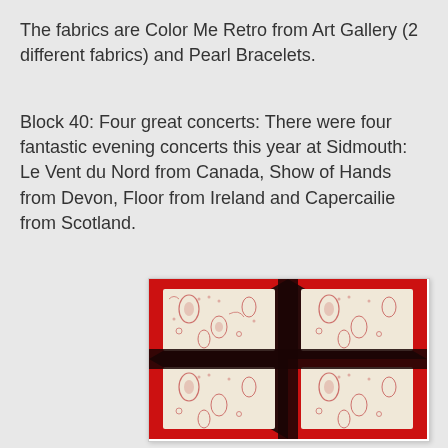The fabrics are Color Me Retro from Art Gallery (2 different fabrics) and Pearl Bracelets.
Block 40: Four great concerts: There were four fantastic evening concerts this year at Sidmouth: Le Vent du Nord from Canada, Show of Hands from Devon, Floor from Ireland and Capercailie from Scotland.
[Figure (photo): A quilt block photographed showing a pattern with dark maroon/black diagonal sashes and red solid triangles in the corners, with four cream/white squares featuring red paisley and floral print fabric in the center quadrants. The block appears to be a 'twisted log cabin' or similar quilt pattern.]